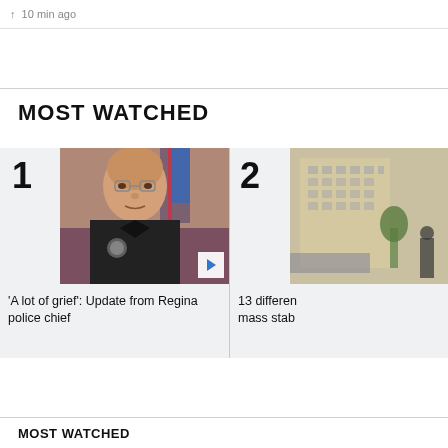10 min ago
MOST WATCHED
[Figure (screenshot): Video thumbnail of a police officer in black uniform with badge, with a play button overlay. Card labeled 1.]
'A lot of grief': Update from Regina police chief
[Figure (photo): Video thumbnail of a building exterior, partially cropped. Card labeled 2.]
13 differen mass stab
MOST WATCHED (bottom section header partial)